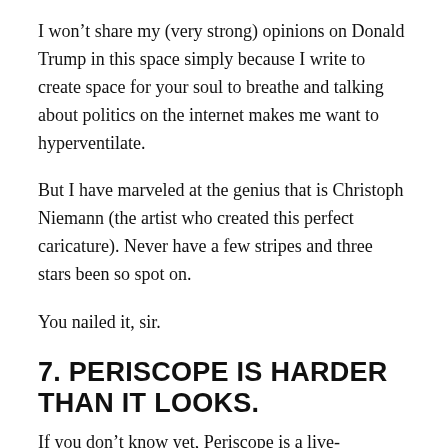I won't share my (very strong) opinions on Donald Trump in this space simply because I write to create space for your soul to breathe and talking about politics on the internet makes me want to hyperventilate.
But I have marveled at the genius that is Christoph Niemann (the artist who created this perfect caricature). Never have a few stripes and three stars been so spot on.
You nailed it, sir.
7. PERISCOPE IS HARDER THAN IT LOOKS.
If you don't know yet, Periscope is a live-streaming app that lets you broadcast live from anywhere and people can watch in real time